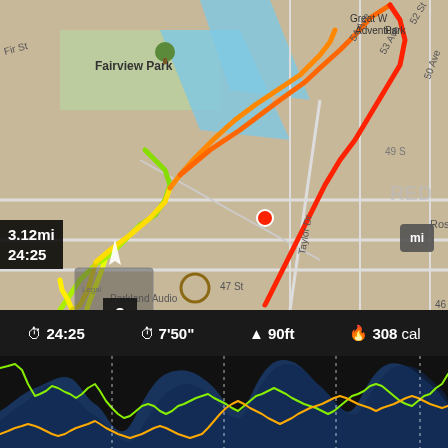[Figure (map): GPS running route map screenshot showing a 3.12 mile run route overlaid on a street map. The route is color-coded from yellow/green (start) through orange to red (end), passing through Fairview Park and Adventure Park area. Street labels visible: Fir St, 54 Ave, 53 Ave, 52 St, 50 Ave, 49 St, Ross St, Taylor Dr, 48 St, 47 St, 46 St. Distance label: 3.12mi, 24:25. Mile marker 3 shown.]
24:25   7'50"   90ft   308 cal
[Figure (line-chart): Heart rate / pace chart over time showing two overlapping line graphs — a green/yellow line (pace or heart rate zone) and an orange/yellow line — plotted over a dark blue area chart representing elevation or cadence. Dotted vertical white lines mark mile splits.]